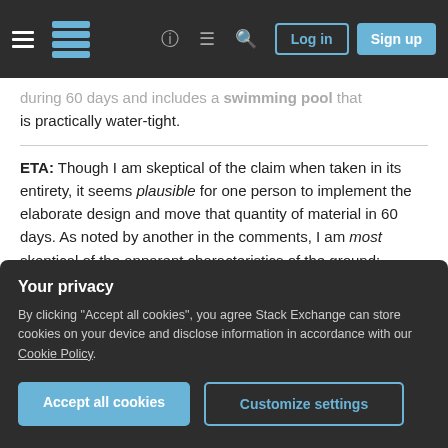Stack Exchange navigation bar with hamburger menu, logo, help, chat, search icons, Log in and Sign up buttons
...during 60 days and includes a swimming pool which is practically water-tight.
ETA: Though I am skeptical of the claim when taken in its entirety, it seems plausible for one person to implement the elaborate design and move that quantity of material in 60 days. As noted by another in the comments, I am most skeptical of the apparent characteristics of the ground: homogeneous and easily carved, but structurally strong and ... both waterproof to retain water for
Your privacy
By clicking "Accept all cookies", you agree Stack Exchange can store cookies on your device and disclose information in accordance with our Cookie Policy.
Accept all cookies
Customize settings